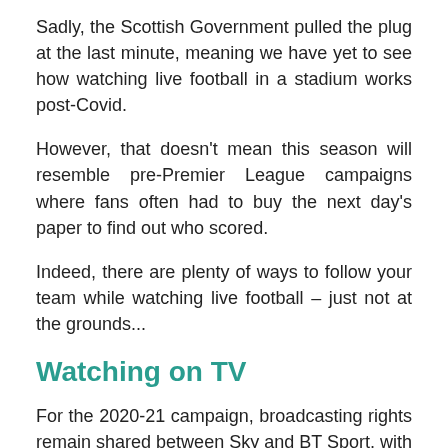Sadly, the Scottish Government pulled the plug at the last minute, meaning we have yet to see how watching live football in a stadium works post-Covid.
However, that doesn't mean this season will resemble pre-Premier League campaigns where fans often had to buy the next day's paper to find out who scored.
Indeed, there are plenty of ways to follow your team while watching live football – just not at the grounds...
Watching on TV
For the 2020-21 campaign, broadcasting rights remain shared between Sky and BT Sport, with 22 matches screening on Amazon Prime (more on that below).
Sky will show 140 Premier League and 130 EFL matches, while BT Sport is broadcasting 58 PL games alongside every UEFA Champions League and Europa League match.